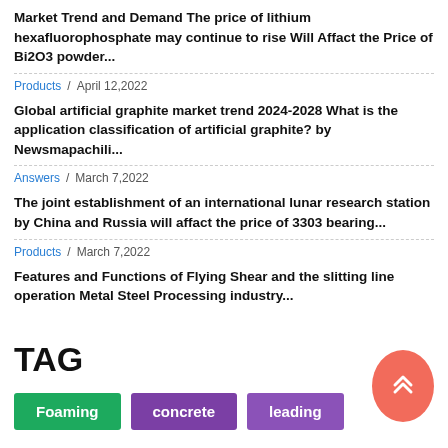Market Trend and Demand The price of lithium hexafluorophosphate may continue to rise Will Affact the Price of Bi2O3 powder...
Products / April 12,2022
Global artificial graphite market trend 2024-2028 What is the application classification of artificial graphite? by Newsmapachili...
Answers / March 7,2022
The joint establishment of an international lunar research station by China and Russia will affact the price of 3303 bearing...
Products / March 7,2022
Features and Functions of Flying Shear and the slitting line operation Metal Steel Processing industry...
TAG
Foaming
concrete
leading